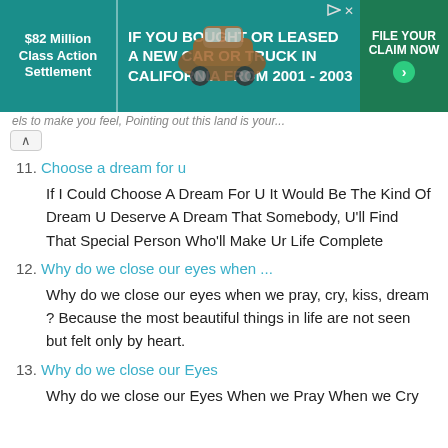[Figure (infographic): Advertisement banner for $82 Million Class Action Settlement - If you bought or leased a new car or truck in California from 2001-2003, File Your Claim Now]
els to make you feel, Pointing out this land is your...
11. Choose a dream for u
If I Could Choose A Dream For U It Would Be The Kind Of Dream U Deserve A Dream That Somebody, U'll Find That Special Person Who'll Make Ur Life Complete
12. Why do we close our eyes when ...
Why do we close our eyes when we pray, cry, kiss, dream ? Because the most beautiful things in life are not seen but felt only by heart.
13. Why do we close our Eyes
Why do we close our Eyes When we Pray When we Cry